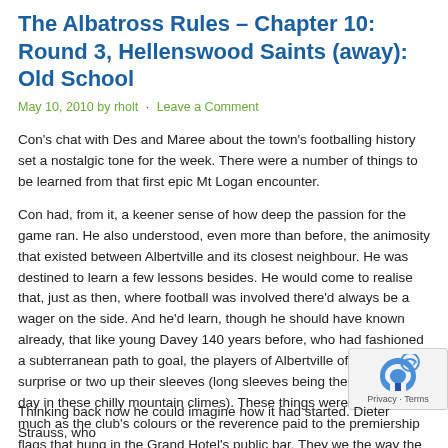The Albatross Rules – Chapter 10: Round 3, Hellenswood Saints (away): Old School
May 10, 2010 by rholt · Leave a Comment
Con's chat with Des and Maree about the town's footballing history set a nostalgic tone for the week. There were a number of things to be learned from that first epic Mt Logan encounter.
Con had, from it, a keener sense of how deep the passion for the game ran. He also understood, even more than before, the animosity that existed between Albertville and its closest neighbour. He was destined to learn a few lessons besides. He would come to realise that, just as then, where football was involved there'd always be a wager on the side. And he'd learn, though he should have known already, that like young Davey 140 years before, who had fashioned a subterranean path to goal, the players of Albertville often had a surprise or two up their sleeves (long sleeves being the order of the day in these chilly mountain climes). These things were traditions, as much as the club's colours or the reverence paid to the premiership flags that hung in the Grand Hotel's public bar. They we the way the game was played up here. For better or worse he'd hav used to them.
Thinking back now he could imagine how it had started. Dieter Strauss, who